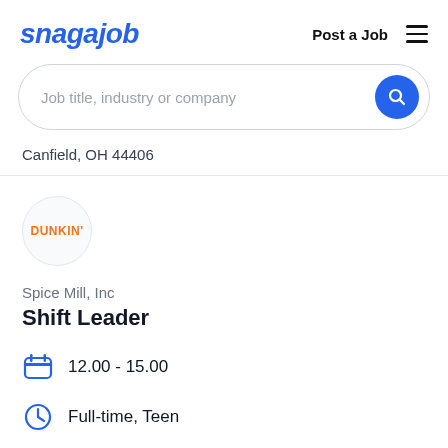snagajob   Post a Job
Job title, industry or company
Canfield, OH 44406
[Figure (logo): Dunkin' logo inside a circular border]
Spice Mill, Inc
Shift Leader
12.00 - 15.00
Full-time, Teen